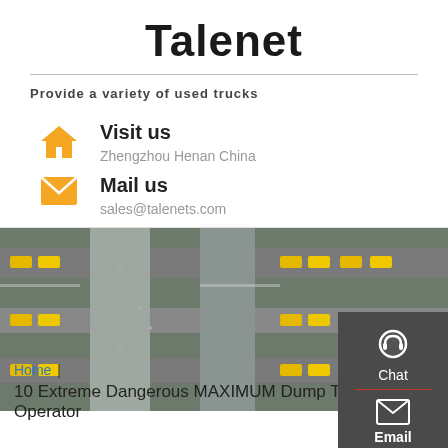Talenet
Provide a variety of used trucks
Visit us
Zhengzhou Henan China
Mail us
sales@talenets.com
[Figure (photo): Aerial view of a truck depot/logistics yard with rows of yellow and white trucks parked along lanes]
Chat
Email
Contact
Top
Home | 10 Extreme Dangerous MAXIMUM Dump Truck Operator